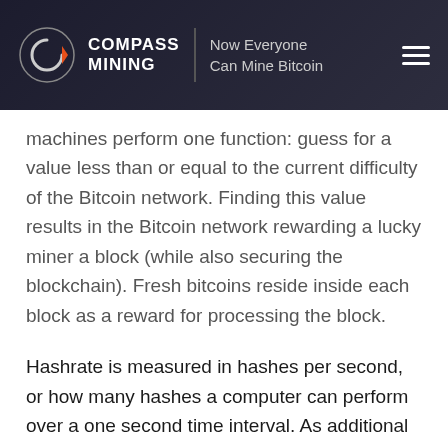COMPASS MINING | Now Everyone Can Mine Bitcoin
machines perform one function: guess for a value less than or equal to the current difficulty of the Bitcoin network. Finding this value results in the Bitcoin network rewarding a lucky miner a block (while also securing the blockchain). Fresh bitcoins reside inside each block as a reward for processing the block.
Hashrate is measured in hashes per second, or how many hashes a computer can perform over a one second time interval. As additional miners joined the network, hashes per second scaled into greater units, such as terrahashes per second (TH/s) or exahashes per second (EH/s).
Hashrate itself is best used as a benchmark for interest in mining Bitcoin and gauging Bitcoin's security. In both